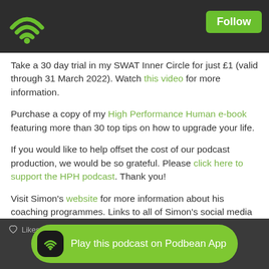Podcast app header with wifi logo and Follow button
Take a 30 day trial in my SWAT Inner Circle for just £1 (valid through 31 March 2022). Watch this video for more information.
Purchase a copy of my High Performance Human e-book featuring more than 30 top tips on how to upgrade your life.
If you would like to help offset the cost of our podcast production, we would be so grateful.  Please click here to support the HPH podcast.  Thank you!
Visit Simon's website for more information about his coaching programmes.  Links to all of Simon's social media channels can be found here.  For any questions please email Beth@TheTriathlonCoach.com.
Likes | Share | Download (1,303) — Play this podcast on Podbean App